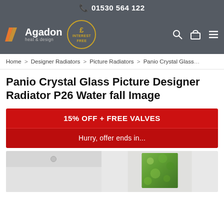01530 564 122
[Figure (logo): Agadon heat & design logo with orange slashes, Interest Free circular badge, search icon, basket icon, hamburger menu icon]
Home > Designer Radiators > Picture Radiators > Panio Crystal Glass
Panio Crystal Glass Picture Designer Radiator P26 Water fall Image
15% OFF + FREE VALVES
Hurry, offer ends in...
[Figure (photo): Product photo showing a glass panel radiator with waterfall/green foliage image mounted on a white wall in a room setting]